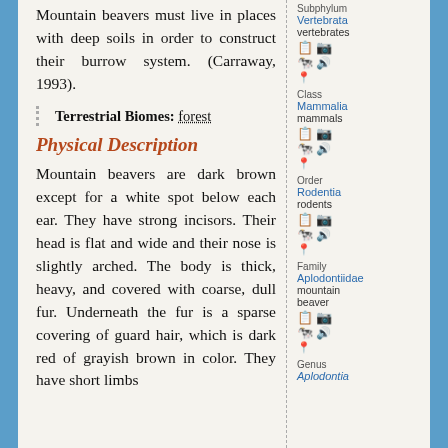Mountain beavers must live in places with deep soils in order to construct their burrow system. (Carraway, 1993).
Terrestrial Biomes: forest
Physical Description
Mountain beavers are dark brown except for a white spot below each ear. They have strong incisors. Their head is flat and wide and their nose is slightly arched. The body is thick, heavy, and covered with coarse, dull fur. Underneath the fur is a sparse covering of guard hair, which is dark red of grayish brown in color. They have short limbs
Subphylum Vertebrata vertebrates
Class Mammalia mammals
Order Rodentia rodents
Family Aplodontiidae mountain beaver
Genus Aplodontia